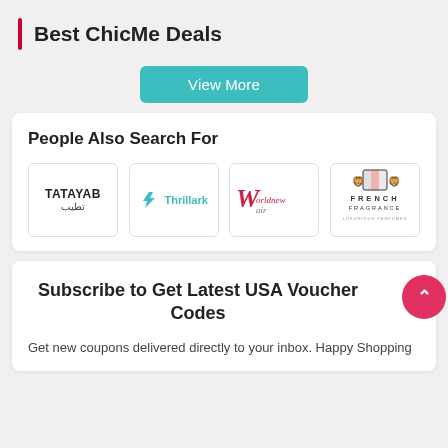Best ChicMe Deals
View More
People Also Search For
[Figure (logo): TATAYAB (تطيب) brand logo]
[Figure (logo): Thrillark brand logo in teal]
[Figure (logo): Worldnewair brand logo]
[Figure (logo): French Fragrance brand logo with crest]
Subscribe to Get Latest USA Voucher Codes
Get new coupons delivered directly to your inbox. Happy Shopping